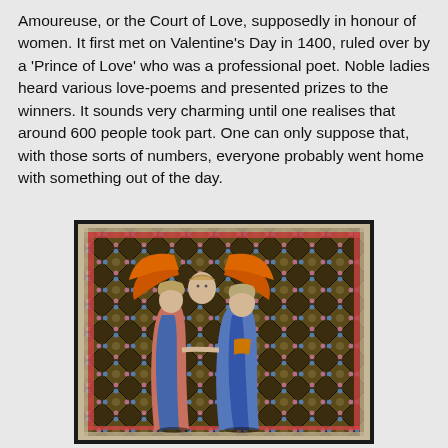Amoureuse, or the Court of Love, supposedly in honour of women. It first met on Valentine's Day in 1400, ruled over by a 'Prince of Love' who was a professional poet. Noble ladies heard various love-poems and presented prizes to the winners. It sounds very charming until one realises that around 600 people took part. One can only suppose that, with those sorts of numbers, everyone probably went home with something out of the day.
[Figure (illustration): Medieval illuminated manuscript illustration showing two figures in long robes, one wearing blue and one wearing pink/salmon, embracing or standing close together, with a winged creature (angel or Cupid) with orange/red wings above them. The background features a dark diamond lattice pattern with colorful floral motifs in blue, pink, and gold. The image has a dark border/frame.]